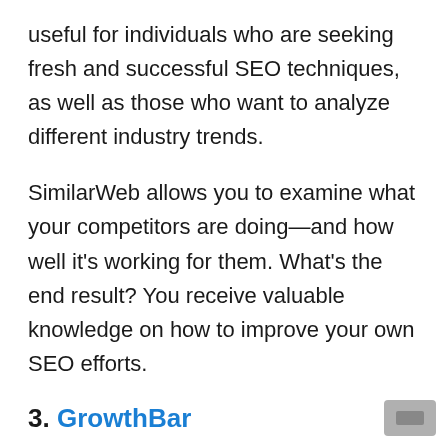useful for individuals who are seeking fresh and successful SEO techniques, as well as those who want to analyze different industry trends.
SimilarWeb allows you to examine what your competitors are doing—and how well it's working for them. What's the end result? You receive valuable knowledge on how to improve your own SEO efforts.
3. GrowthBar
GrowthBar is a simple Chrome extension that gives you instant access to important SEO data about any website, as well as the traffic-driving growth channels and keywords.